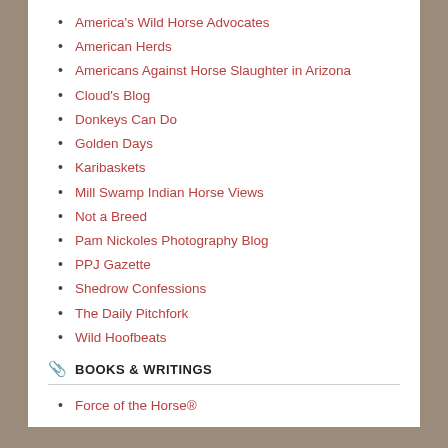America's Wild Horse Advocates
American Herds
Americans Against Horse Slaughter in Arizona
Cloud's Blog
Donkeys Can Do
Golden Days
Karibaskets
Mill Swamp Indian Horse Views
Not a Breed
Pam Nickoles Photography Blog
PPJ Gazette
Shedrow Confessions
The Daily Pitchfork
Wild Hoofbeats
Wild Horse Investigation Team
Wild Horse Warriors
BOOKS & WRITINGS
Force of the Horse®